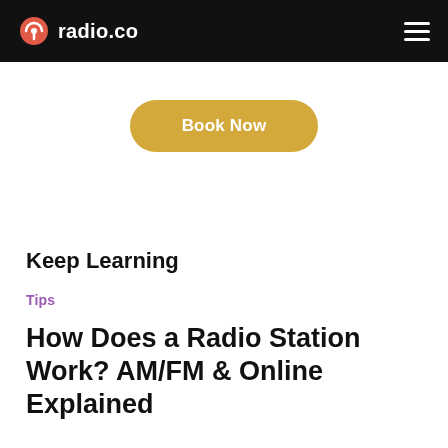radio.co
[Figure (other): Book Now button - a rounded pill-shaped golden/yellow button with white text]
Keep Learning
Tips
How Does a Radio Station Work? AM/FM & Online Explained